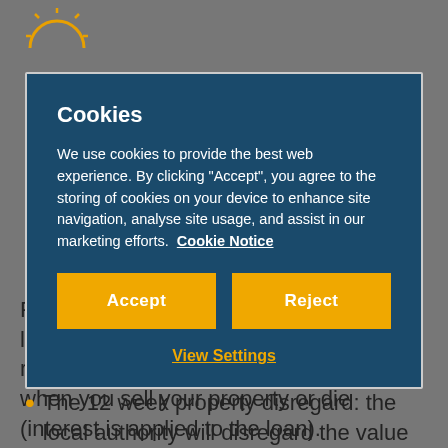[Figure (logo): Partial sun/logo icon visible in top left corner of background page]
Payment Scheme' which entitles you to a loan to pay for the care you need, and repayment of that loan is only required when you sell your property or die (interest is applied to the loan).
The 12 week property disregard: the local authority will disregard the value of property and treat the individual as if they were state
Cookies
We use cookies to provide the best web experience. By clicking "Accept", you agree to the storing of cookies on your device to enhance site navigation, analyse site usage, and assist in our marketing efforts.  Cookie Notice
Accept
Reject
View Settings